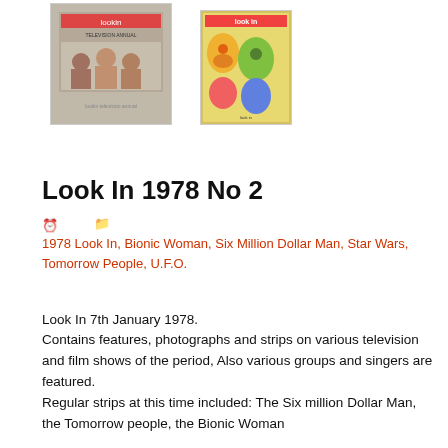[Figure (photo): Two magazine cover thumbnails side by side. Left: Look In Television Annual cover with group of people. Right: Look In magazine cover with colorful characters.]
Look In 1978 No 2
1978 Look In, Bionic Woman, Six Million Dollar Man, Star Wars, Tomorrow People, U.F.O.
Look In 7th January 1978.
Contains features, photographs and strips on various television and film shows of the period, Also various groups and singers are featured.
Regular strips at this time included: The Six million Dollar Man, the Tomorrow people, the Bionic Woman